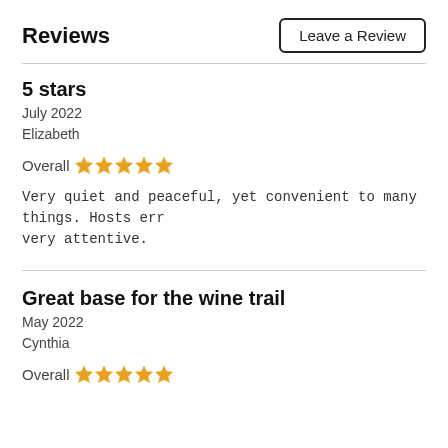Reviews
Leave a Review
5 stars
July 2022
Elizabeth
Overall ★★★★★
Very quiet and peaceful, yet convenient to many things. Hosts err very attentive.
Great base for the wine trail
May 2022
Cynthia
Overall ★★★★★